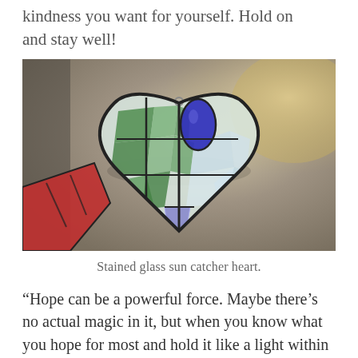kindness you want for yourself. Hold on and stay well!
[Figure (photo): A stained glass sun catcher heart ornament hanging, with green, blue, and clear glass pieces arranged in a heart shape with black lead lines. A partial red stained glass piece visible at lower left. Blurry warm background.]
Stained glass sun catcher heart.
“Hope can be a powerful force. Maybe there’s no actual magic in it, but when you know what you hope for most and hold it like a light within you, you make things happen, almost like magic.” –